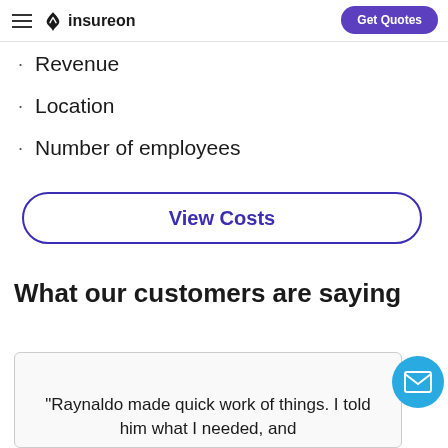insureon | Get Quotes
Revenue
Location
Number of employees
View Costs
What our customers are saying
"Raynaldo made quick work of things. I told him what I needed, and